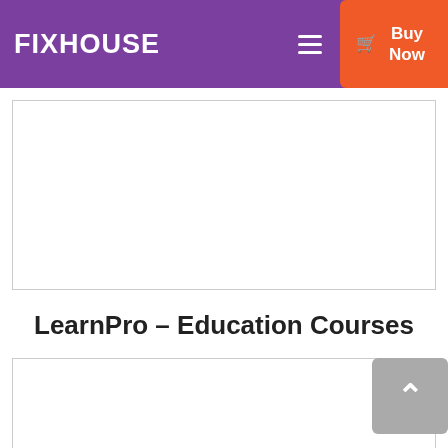FIXHOUSE — Buy Now
[Figure (screenshot): White rectangular image placeholder box with light gray border]
LearnPro – Education Courses
[Figure (screenshot): White rectangular image placeholder box with light gray border (larger, partially cut off at bottom)]